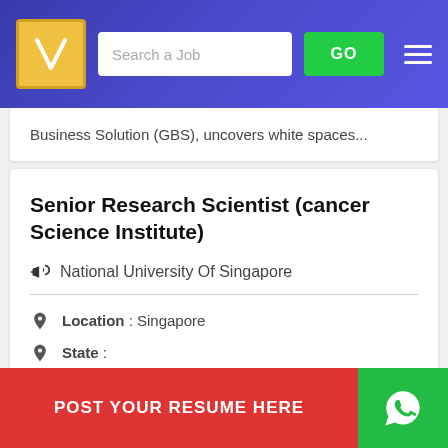Search a Job | GO
Business Solution (GBS), uncovers white spaces...
Senior Research Scientist (cancer Science Institute)
National University Of Singapore
Location : Singapore
State :
Industry : Computers / IT
POST YOUR RESUME HERE
research2Cancer will affect more than 1 in 3 Singaporeans. At